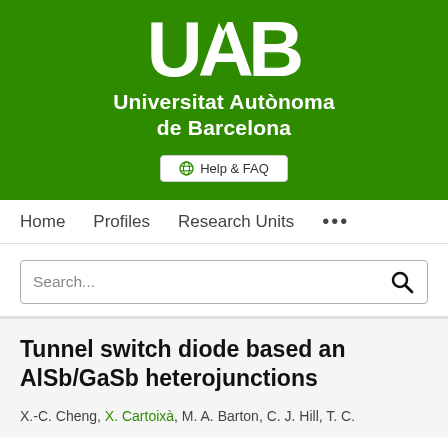[Figure (logo): Universitat Autònoma de Barcelona (UAB) logo and name on green background with Help & FAQ button]
Home   Profiles   Research Units   ...
Search...
Tunnel switch diode based an AlSb/GaSb heterojunctions
X.-C. Cheng, X. Cartoixà, M. A. Barton, C. J. Hill, T. C.